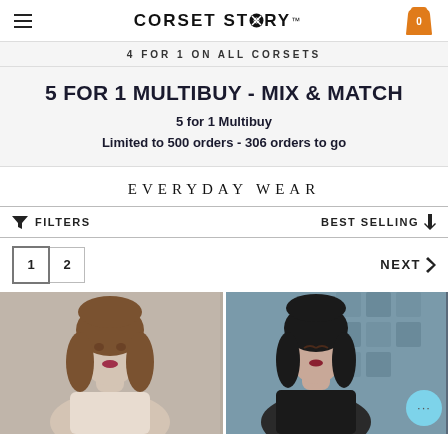CORSET STORY
4 FOR 1 ON ALL CORSETS
5 FOR 1 MULTIBUY - MIX & MATCH
5 for 1 Multibuy
Limited to 500 orders - 306 orders to go
EVERYDAY WEAR
FILTERS
BEST SELLING
1   2   NEXT >
[Figure (photo): Woman with brown hair wearing a corset, light grey background]
[Figure (photo): Woman with dark hair wearing a black corset, teal geometric tile background]